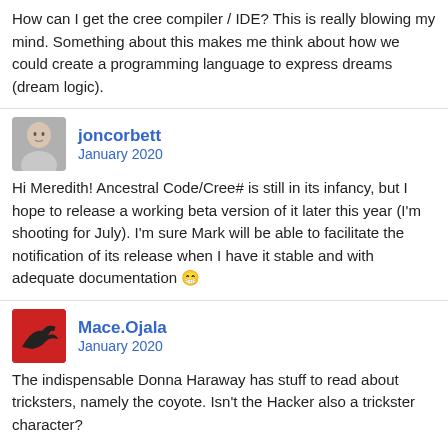How can I get the cree compiler / IDE? This is really blowing my mind. Something about this makes me think about how we could create a programming language to express dreams (dream logic).
joncorbett
January 2020
Hi Meredith! Ancestral Code/Cree# is still in its infancy, but I hope to release a working beta version of it later this year (I'm shooting for July). I'm sure Mark will be able to facilitate the notification of its release when I have it stable and with adequate documentation 😅
Mace.Ojala
January 2020
The indispensable Donna Haraway has stuff to read about tricksters, namely the coyote. Isn't the Hacker also a trickster character?

This Cree# language looks like it would be great to program with a stylus or a pen or another instrument like that, rather than a keyboard.
jang
January 2020